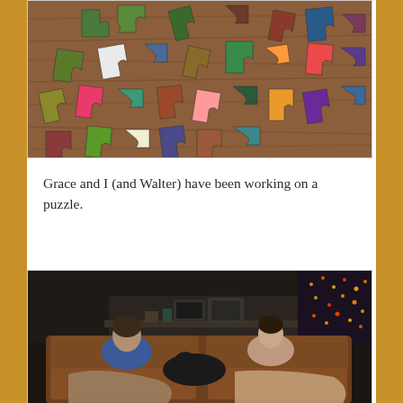[Figure (photo): Puzzle pieces scattered on a wooden table, showing colorful jigsaw pieces in various shapes spread across a brown wood-grain surface.]
Grace and I (and Walter) have been working on a puzzle.
[Figure (photo): Two people sitting on a brown leather couch in a dimly lit living room. One person on the left is wearing a blue hoodie, the other on the right is wearing a lighter top with arms crossed. A dark cat or dog is visible between them on the couch. Christmas lights are visible in the background on the right side, and a kitchen area is visible in the background.]